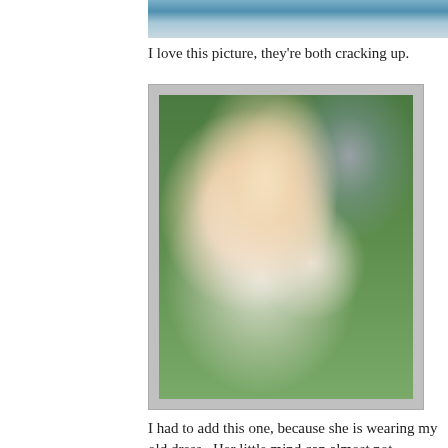[Figure (photo): Partial view of a photo at the top of the page, cut off, appears to show people]
I love this picture, they're both cracking up.
[Figure (photo): A young girl with a blue and white striped bow/headband in her hair, laughing with eyes squinted, wearing a white smocked dress, green grass background]
I had to add this one, because she is wearing my old dress.  Her little mind can almost not comprehend that I once fit into that dress, she